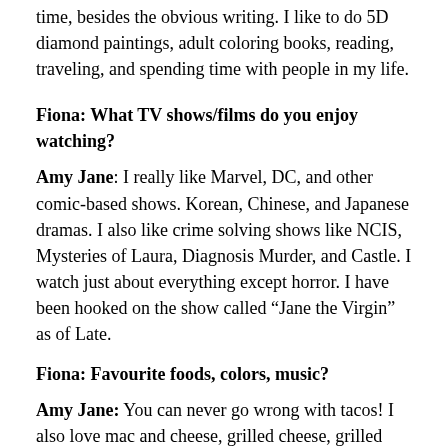time, besides the obvious writing. I like to do 5D diamond paintings, adult coloring books, reading, traveling, and spending time with people in my life.
Fiona: What TV shows/films do you enjoy watching?
Amy Jane: I really like Marvel, DC, and other comic-based shows. Korean, Chinese, and Japanese dramas. I also like crime solving shows like NCIS, Mysteries of Laura, Diagnosis Murder, and Castle. I watch just about everything except horror. I have been hooked on the show called “Jane the Virgin” as of Late.
Fiona: Favourite foods, colors, music?
Amy Jane: You can never go wrong with tacos! I also love mac and cheese, grilled cheese, grilled chicken, most pasta, and steak... I don’t eat carbs much anymore